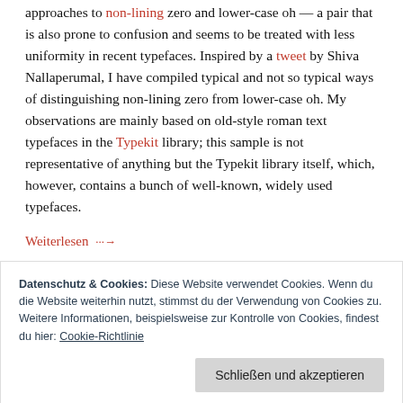approaches to non-lining zero and lower-case oh — a pair that is also prone to confusion and seems to be treated with less uniformity in recent typefaces. Inspired by a tweet by Shiva Nallaperumal, I have compiled typical and not so typical ways of distinguishing non-lining zero from lower-case oh. My observations are mainly based on old-style roman text typefaces in the Typekit library; this sample is not representative of anything but the Typekit library itself, which, however, contains a bunch of well-known, widely used typefaces.
Weiterlesen →
Dieser Beitrag wurde am 23. August 2016 in Gestaltung
Datenschutz & Cookies: Diese Website verwendet Cookies. Wenn du die Website weiterhin nutzt, stimmst du der Verwendung von Cookies zu. Weitere Informationen, beispielsweise zur Kontrolle von Cookies, findest du hier: Cookie-Richtlinie
Schließen und akzeptieren